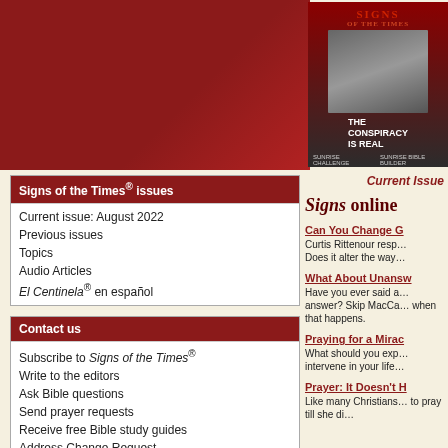[Figure (illustration): Dark red/maroon banner background and magazine cover image for Signs of the Times with text 'THE CONSPIRACY IS REAL']
Current Issue
Signs of the Times® issues
Current issue: August 2022
Previous issues
Topics
Audio Articles
El Centinela® en español
Contact us
Subscribe to Signs of the Times®
Write to the editors
Ask Bible questions
Send prayer requests
Receive free Bible study guides
Address Change Request
About Signs of the Times®
Signs online
Can You Change G…
Curtis Rittenour resp…
Does it alter the way…
What About Unansw…
Have you ever said a… answer? Skip MacCa… when that happens.
Praying for a Mirac…
What should you exp… intervene in your life…
Prayer: It Doesn't H…
Like many Christians… to pray till she di…